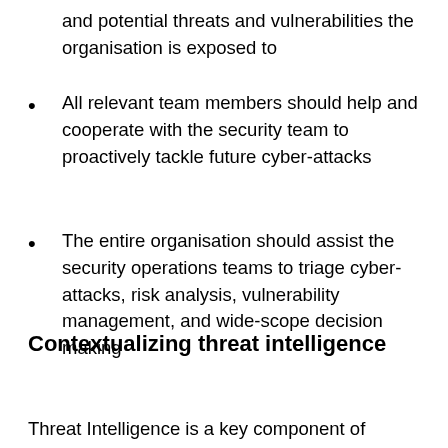and potential threats and vulnerabilities the organisation is exposed to
All relevant team members should help and cooperate with the security team to proactively tackle future cyber-attacks
The entire organisation should assist the security operations teams to triage cyber-attacks, risk analysis, vulnerability management, and wide-scope decision making
Contextualizing threat intelligence
Threat Intelligence is a key component of